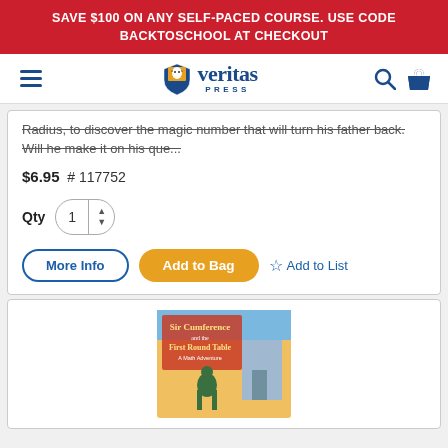SAVE $100 ON ANY SELF-PACED COURSE. USE CODE BACKTOSCHOOL AT CHECKOUT
[Figure (logo): Veritas Press logo with hamburger menu, search icon, and shopping bag icon in navigation bar]
Radius, to discover the magic number that will turn his father back. Will he make it on his que...
$6.95  # 117752
Qty  1
More Info  Add to Bag  Add to List
[Figure (photo): Book cover: Sir Cumference and the First Round Table - A Math Adventure]